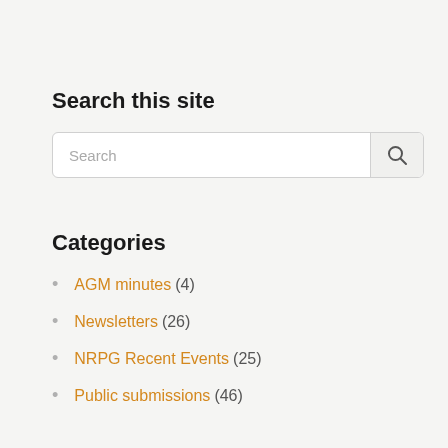Search this site
[Figure (other): Search input box with placeholder text 'Search' and a magnifying glass button]
Categories
AGM minutes (4)
Newsletters (26)
NRPG Recent Events (25)
Public submissions (46)